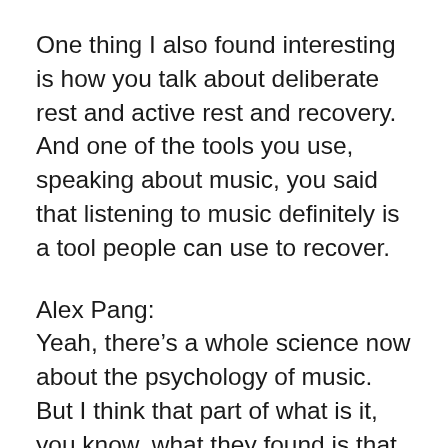One thing I also found interesting is how you talk about deliberate rest and active rest and recovery. And one of the tools you use, speaking about music, you said that listening to music definitely is a tool people can use to recover.
Alex Pang:
Yeah, there’s a whole science now about the psychology of music. But I think that part of what is it, you know, what they found is that partly assuming you’re not a professional musician, music activates parts of the